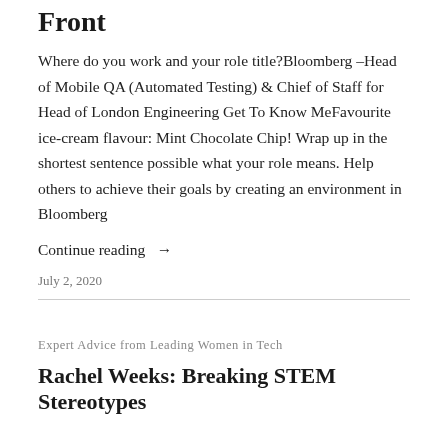Front
Where do you work and your role title?Bloomberg –Head of Mobile QA (Automated Testing) & Chief of Staff for Head of London Engineering Get To Know MeFavourite ice-cream flavour: Mint Chocolate Chip! Wrap up in the shortest sentence possible what your role means. Help others to achieve their goals by creating an environment in Bloomberg
Continue reading →
July 2, 2020
Expert Advice from Leading Women in Tech
Rachel Weeks: Breaking STEM Stereotypes